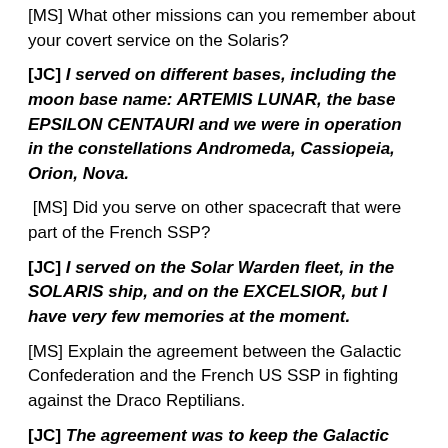[MS] What other missions can you remember about your covert service on the Solaris?
[JC] I served on different bases, including the moon base name: ARTEMIS LUNAR, the base EPSILON CENTAURI and we were in operation in the constellations Andromeda, Cassiopeia, Orion, Nova.
[MS] Did you serve on other spacecraft that were part of the French SSP?
[JC] I served on the Solar Warden fleet, in the SOLARIS ship, and on the EXCELSIOR, but I have very few memories at the moment.
[MS] Explain the agreement between the Galactic Confederation and the French US SSP in fighting against the Draco Reptilians.
[JC] The agreement was to keep the Galactic Confederation informed of the actions of the reptilians on our planet, so there would be no violations of agreements. At least not by the reptili...